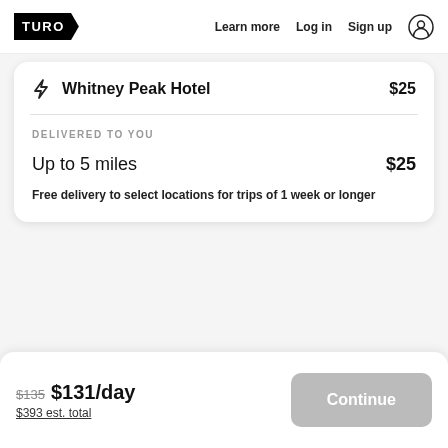TURO | Learn more | Log in | Sign up
Whitney Peak Hotel  $25
DELIVERED TO YOU
Up to 5 miles  $25
Free delivery to select locations for trips of 1 week or longer
$135  $131/day  $393 est. total
Continue